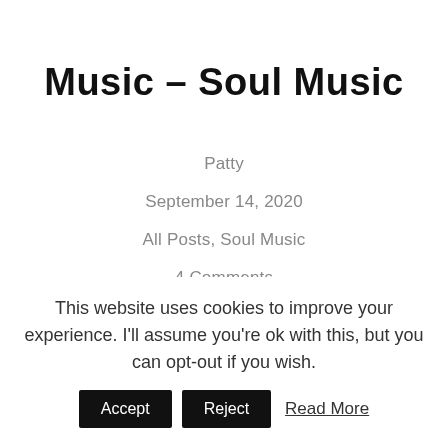Music – Soul Music
Patty
September 14, 2020
All Posts, Soul Music
4 Comments
Besides music being a mood booster, a we...t
This website uses cookies to improve your experience. I'll assume you're ok with this, but you can opt-out if you wish.
Accept
Reject
Read More